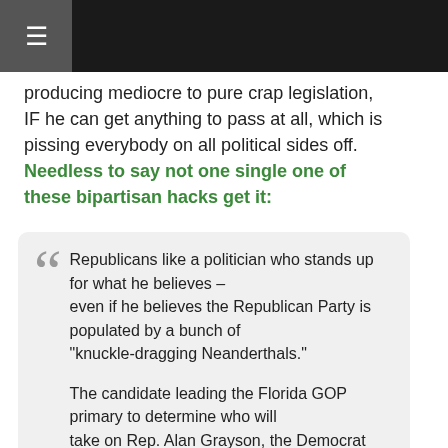☰
producing mediocre to pure crap legislation, IF he can get anything to pass at all, which is pissing everybody on all political sides off. Needless to say not one single one of these bipartisan hacks get it:
Republicans like a politician who stands up for what he believes – even if he believes the Republican Party is populated by a bunch of "knuckle-dragging Neanderthals."

The candidate leading the Florida GOP primary to determine who will take on Rep. Alan Grayson, the Democrat who represents the Orlando-based district, is none other than Grayson himself, according to a poll paid for by his campaign. Grayson is a freshman congressman